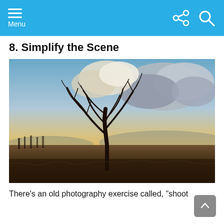Menu
8. Simplify the Scene
[Figure (photo): A lone bare tree silhouetted against a dramatic sunrise sky with golden light and clouds, standing in a misty frost-covered field.]
There’s an old photography exercise called, “shoot